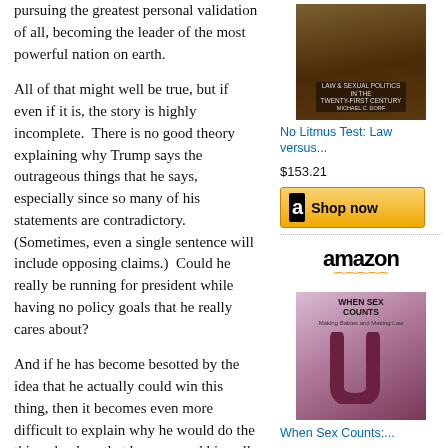pursuing the greatest personal validation of all, becoming the leader of the most powerful nation on earth.
All of that might well be true, but if even if it is, the story is highly incomplete.  There is no good theory explaining why Trump says the outrageous things that he says, especially since so many of his statements are contradictory.  (Sometimes, even a single sentence will include opposing claims.)  Could he really be running for president while having no policy goals that he really cares about?
And if he has become besotted by the idea that he actually could win this thing, then it becomes even more difficult to explain why he would do the things he does that have caused his poll numbers to plummet, such as attacking a federal judge because of his ethnicity, contradicting what
[Figure (photo): Book cover image for 'No Litmus Test: Law versus Politics in the Twenty-First Century']
No Litmus Test: Law versus...
$153.21
[Figure (other): Amazon 'Shop now' button with Amazon logo]
[Figure (other): Amazon logo banner]
[Figure (photo): Book cover image for 'When Sex Counts: Making Babies and Making Law']
When Sex Counts:...
$25.55